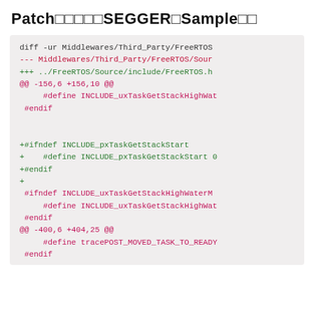Patch SEGGER Sample
[Figure (screenshot): A code diff patch block showing changes to FreeRTOS header files, including additions of INCLUDE_pxTaskGetStackStart and INCLUDE_uxTaskGetStackHighWaterMark defines, displayed in a monospace font with diff color coding (red for removed, green for added, magenta for hunk headers).]